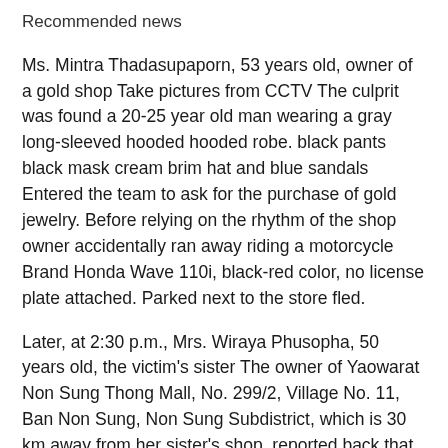Recommended news
Ms. Mintra Thadasupaporn, 53 years old, owner of a gold shop Take pictures from CCTV The culprit was found a 20-25 year old man wearing a gray long-sleeved hooded hooded robe. black pants black mask cream brim hat and blue sandals Entered the team to ask for the purchase of gold jewelry. Before relying on the rhythm of the shop owner accidentally ran away riding a motorcycle Brand Honda Wave 110i, black-red color, no license plate attached. Parked next to the store fled.
Later, at 2:30 p.m., Mrs. Wiraya Phusopha, 50 years old, the victim's sister The owner of Yaowarat Non Sung Thong Mall, No. 299/2, Village No. 11, Ban Non Sung, Non Sung Subdistrict, which is 30 km away from her sister's shop, reported back that a suspect had brought 2 baht of gold jewelry to the shop and sold at the shop, one of which had